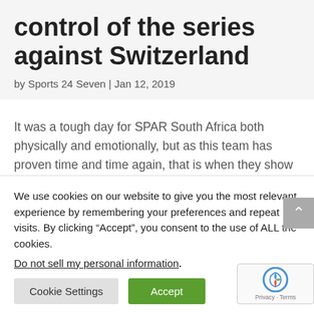control of the series against Switzerland
by Sports 24 Seven | Jan 12, 2019
It was a tough day for SPAR South Africa both physically and emotionally, but as this team has proven time and time again, that is when they show their best side. Today was the day that the former South African player Brenda Bartlett was remembered after her long fight with
We use cookies on our website to give you the most relevant experience by remembering your preferences and repeat visits. By clicking “Accept”, you consent to the use of ALL the cookies.
Do not sell my personal information.
Cookie Settings | Accept